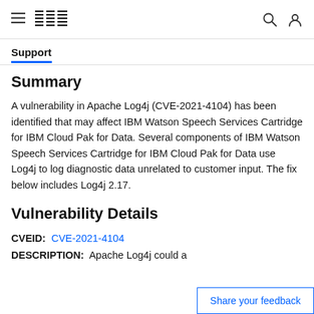IBM
Support
Summary
A vulnerability in Apache Log4j (CVE-2021-4104) has been identified that may affect IBM Watson Speech Services Cartridge for IBM Cloud Pak for Data. Several components of IBM Watson Speech Services Cartridge for IBM Cloud Pak for Data use Log4j to log diagnostic data unrelated to customer input. The fix below includes Log4j 2.17.
Vulnerability Details
CVEID: CVE-2021-4104
DESCRIPTION: Apache Log4j could a...